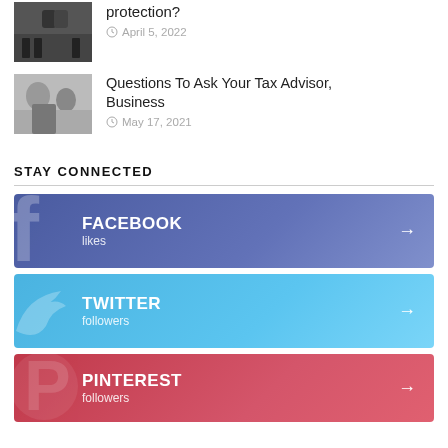[Figure (photo): Two men in suits standing by a black car]
protection?
April 5, 2022
[Figure (photo): Two people discussing documents at a table]
Questions To Ask Your Tax Advisor, Business
May 17, 2021
STAY CONNECTED
[Figure (infographic): Facebook likes social media button]
FACEBOOK
likes
[Figure (infographic): Twitter followers social media button]
TWITTER
followers
[Figure (infographic): Pinterest followers social media button]
PINTEREST
followers